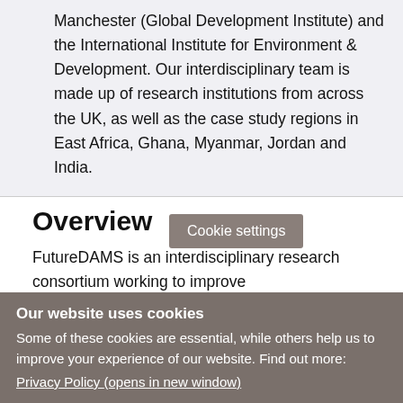Manchester (Global Development Institute) and the International Institute for Environment & Development. Our interdisciplinary team is made up of research institutions from across the UK, as well as the case study regions in East Africa, Ghana, Myanmar, Jordan and India.
Overview
FutureDAMS is an interdisciplinary research consortium working to improve [Cookie settings] governance of large-scale dam...
Our website uses cookies
Some of these cookies are essential, while others help us to improve your experience of our website. Find out more:
Privacy Policy (opens in new window)